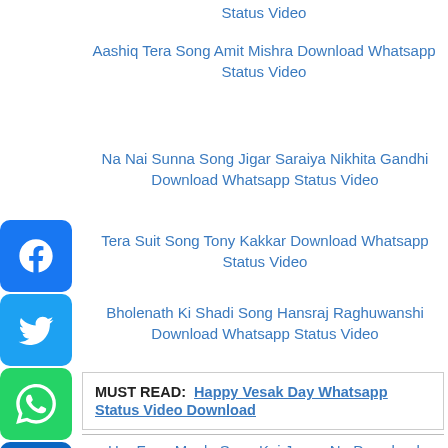Status Video
Aashiq Tera Song Amit Mishra Download Whatsapp Status Video
Na Nai Sunna Song Jigar Saraiya Nikhita Gandhi Download Whatsapp Status Video
Tera Suit Song Tony Kakkar Download Whatsapp Status Video
Bholenath Ki Shadi Song Hansraj Raghuwanshi Download Whatsapp Status Video
MUST READ:  Happy Vesak Day Whatsapp Status Video Download
Har Funn Maula Song Koi Jaane Na Download Whatsapp Status Video